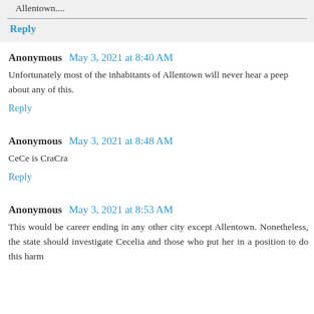Allentown....
Reply
Anonymous  May 3, 2021 at 8:40 AM
Unfortunately most of the inhabitants of Allentown will never hear a peep about any of this.
Reply
Anonymous  May 3, 2021 at 8:48 AM
CeCe is CraCra
Reply
Anonymous  May 3, 2021 at 8:53 AM
This would be career ending in any other city except Allentown. Nonetheless, the state should investigate Cecelia and those who put her in a position to do this harm